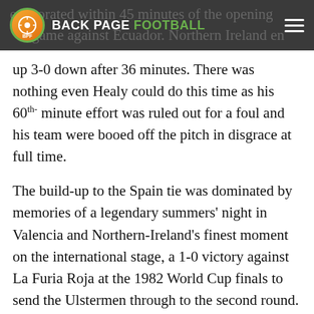BACK PAGE FOOTBALL
up 3-0 down after 36 minutes. There was nothing even Healy could do this time as his 60th- minute effort was ruled out for a foul and his team were booed off the pitch in disgrace at full time.
The build-up to the Spain tie was dominated by memories of a legendary summers' night in Valencia and Northern-Ireland's finest moment on the international stage, a 1-0 victory against La Furia Roja at the 1982 World Cup finals to send the Ulstermen through to the second round. At Spain's own World Cup, no less. That night belonged to Watford's Gerry Armstrong; this one would belong to David Healy.